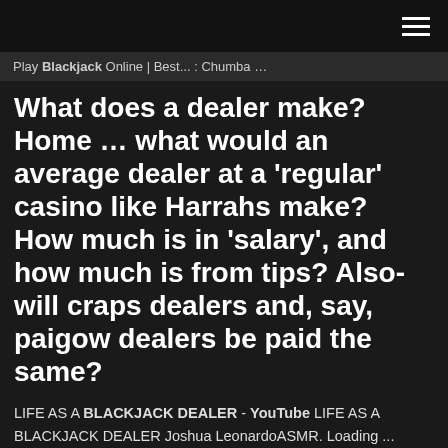Play Blackjack Online | Best... : Chumba ...
What does a dealer make? Home … what would an average dealer at a 'regular' casino like Harrahs make? How much is in 'salary', and how much is from tips? Also-will craps dealers and, say, paigow dealers be paid the same?
LIFE AS A BLACKJACK DEALER - YouTube LIFE AS A BLACKJACK DEALER Joshua LeonardoASMR. Loading ...
Can You Make Millions of Dollars Playing Blackjack? - Duration:    Casino Backoff for Card Counting - Blackjack